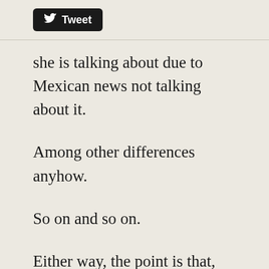[Figure (other): Twitter Tweet button with bird logo and 'Tweet' text on black rounded rectangle background]
she is talking about due to Mexican news not talking about it.
Among other differences anyhow.
So on and so on.
Either way, the point is that, from time to time, when the